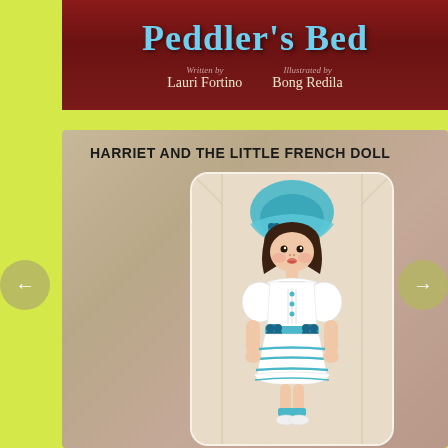[Figure (illustration): Book cover banner with title 'Peddler's Bed' in teal/blue decorative font on dark red wood-grain background, with author 'Written by Lauri Fortino' and illustrator 'Illustrated by Bong Redila']
HARRIET AND THE LITTLE FRENCH DOLL
[Figure (illustration): Illustrated French doll with brown curly hair, teal bonnet with flower, white dress with puffed sleeves, teal ribbon belt with blue flowers, striped skirt with teal trim, and teal ankle socks. Doll appears to be inside a wooden box or display case.]